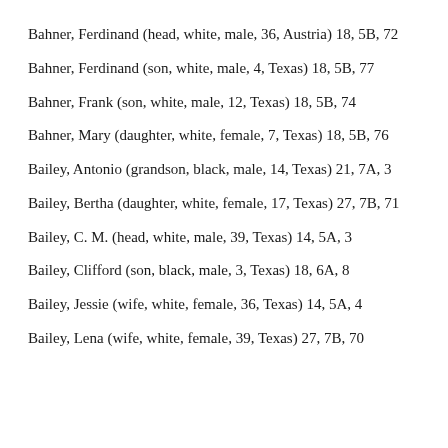Bahner, Ferdinand (head, white, male, 36, Austria) 18, 5B, 72
Bahner, Ferdinand (son, white, male, 4, Texas) 18, 5B, 77
Bahner, Frank (son, white, male, 12, Texas) 18, 5B, 74
Bahner, Mary (daughter, white, female, 7, Texas) 18, 5B, 76
Bailey, Antonio (grandson, black, male, 14, Texas) 21, 7A, 3
Bailey, Bertha (daughter, white, female, 17, Texas) 27, 7B, 71
Bailey, C. M. (head, white, male, 39, Texas) 14, 5A, 3
Bailey, Clifford (son, black, male, 3, Texas) 18, 6A, 8
Bailey, Jessie (wife, white, female, 36, Texas) 14, 5A, 4
Bailey, Lena (wife, white, female, 39, Texas) 27, 7B, 70